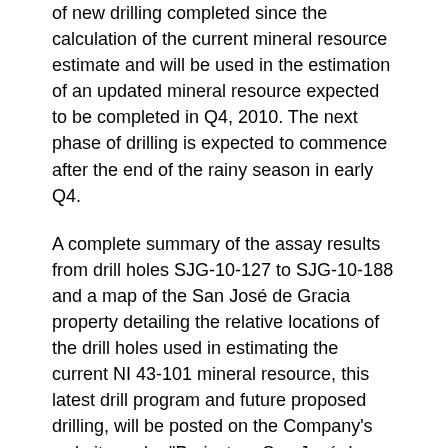of new drilling completed since the calculation of the current mineral resource estimate and will be used in the estimation of an updated mineral resource expected to be completed in Q4, 2010. The next phase of drilling is expected to commence after the end of the rainy season in early Q4.
A complete summary of the assay results from drill holes SJG-10-127 to SJG-10-188 and a map of the San José de Gracia property detailing the relative locations of the drill holes used in estimating the current NI 43-101 mineral resource, this latest drill program and future proposed drilling, will be posted on the Company's website under "Projects -- San José de Gracia" at www.goldgroupmining.com.
The San José de Gracia District, covering 99,500 hectares, is 100%-owned by DynaResource de Mexico S.A. de C.V ("DynaMexico"). Goldgroup currently owns 25% of DynaMexico after completing the initial stages of